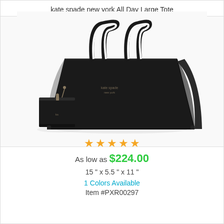kate spade new york All Day Large Tote
[Figure (photo): Black leather kate spade new york All Day Large Tote bag with dual handles and a small attached wristlet pouch, photographed on white background]
★★★★★
As low as $224.00
15 " x 5.5 " x 11 "
1 Colors Available
Item #PXR00297